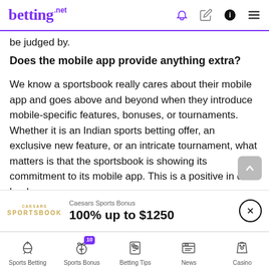betting.net
be judged by.
Does the mobile app provide anything extra?
We know a sportsbook really cares about their mobile app and goes above and beyond when they introduce mobile-specific features, bonuses, or tournaments. Whether it is an Indian sports betting offer, an exclusive new feature, or an intricate tournament, what matters is that the sportsbook is showing its commitment to its mobile app. This is a positive in our book.
[Figure (other): Caesars Sportsbook promo bar: 100% up to $1250]
Sports Betting | Sports Bonus (10) | Betting Tips | News | Casino